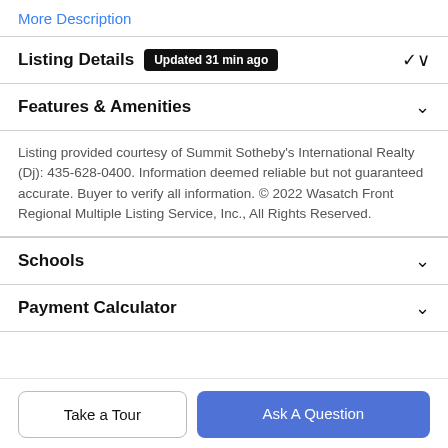More Description
Listing Details  Updated 31 min ago
Features & Amenities
Listing provided courtesy of Summit Sotheby's International Realty (Dj): 435-628-0400. Information deemed reliable but not guaranteed accurate. Buyer to verify all information. © 2022 Wasatch Front Regional Multiple Listing Service, Inc., All Rights Reserved.
Schools
Payment Calculator
Take a Tour
Ask A Question